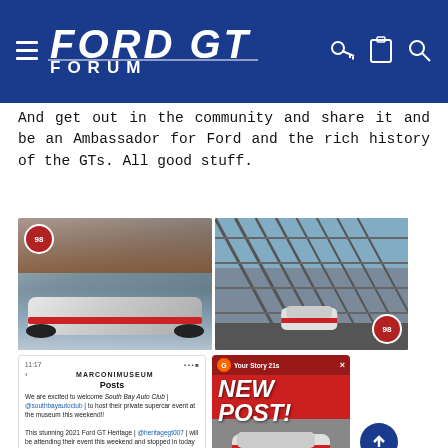FORD GT FORUM
And get out in the community and share it and be an Ambassador for Ford and the rich history of the GTs. All good stuff.
[Figure (photo): Two photos of a Ford GT Heritage Edition (#98) in white/red/blue livery — left photo shows car parked outside a building, right photo shows car driving across a metal bridge structure]
[Figure (screenshot): Social media post from MARCONIMUSEUM: 'We are excited to welcome South Bay Auto Club | @southbayautoclub | to host their private supercar event at the museum this weekend!! This stunning 2021 Ford GT Heritage | @heritagegt007 | will be attending their event this weekend and stopped in today to scope out the venue! This Ford GT is actually a tribute to Ken Miles '66 Daytona Winning Racecar & the first #98 to be delivered on the West Coast!']
[Figure (screenshot): Instagram Story screenshot showing 'NEW POST!' text overlay with a photo of Ford GT Heritage Edition in red livery, and footer text 'CHECK OUT OUR NEW POST | ... PRIVATE SUPERCAR EVENT']